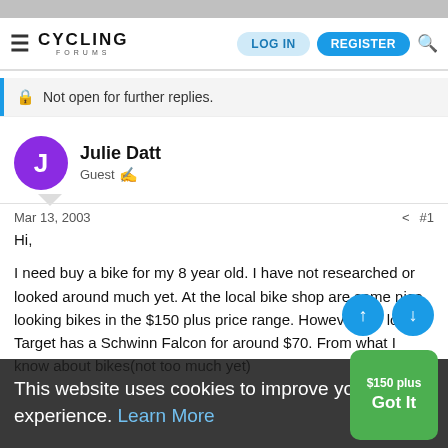Cycling Forums — LOG IN | REGISTER
Not open for further replies.
Julie Datt
Guest
Mar 13, 2003  #1
Hi,

I need buy a bike for my 8 year old. I have not researched or looked around much yet. At the local bike shop are some nice looking bikes in the $150 plus price range. However the local Target has a Schwinn Falcon for around $70. From what I know about bikes(not too much yet)
This website uses cookies to improve your experience. Learn More